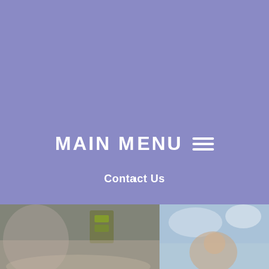[Figure (screenshot): Purple/periwinkle overlay covering the top two-thirds of the page, functioning as a navigation/menu overlay for a website]
MAIN MENU ≡
Contact Us
[Figure (photo): Blurred outdoor photo on the left side showing a person and what appears to be a traffic light or signage]
[Figure (photo): Blurred outdoor photo on the right side showing a person against a blue sky background]